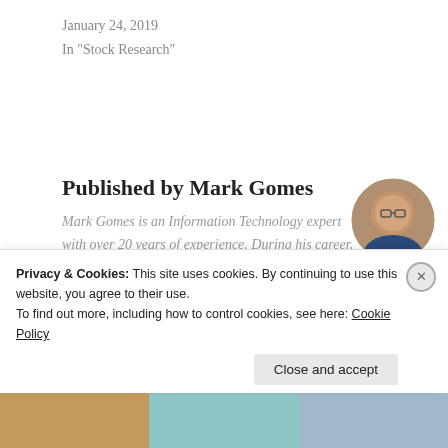January 24, 2019
In "Stock Research"
Published by Mark Gomes
Mark Gomes is an Information Technology expert with over 20 years of experience. During his career, Gomes led the investment research efforts at numerous IT consulting organizations, including International Data Corporation (1994-1998) and AMR...
[Figure (photo): Circular portrait photo of Mark Gomes, a man wearing glasses and a dark shirt, with his hand near his chin.]
Privacy & Cookies: This site uses cookies. By continuing to use this website, you agree to their use.
To find out more, including how to control cookies, see here: Cookie Policy
Close and accept